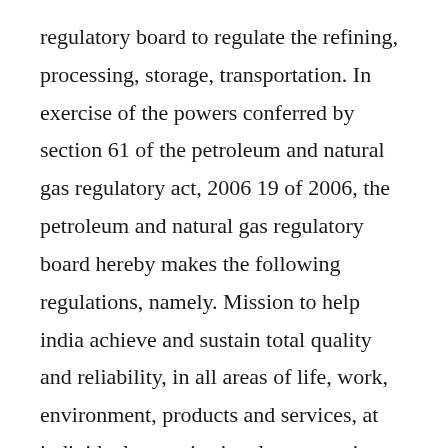regulatory board to regulate the refining, processing, storage, transportation. In exercise of the powers conferred by section 61 of the petroleum and natural gas regulatory act, 2006 19 of 2006, the petroleum and natural gas regulatory board hereby makes the following regulations, namely. Mission to help india achieve and sustain total quality and reliability, in all areas of life, work, environment, products and services, at individual, organisational, community and societal levels. Subsequently, the paper discusses organisational within the